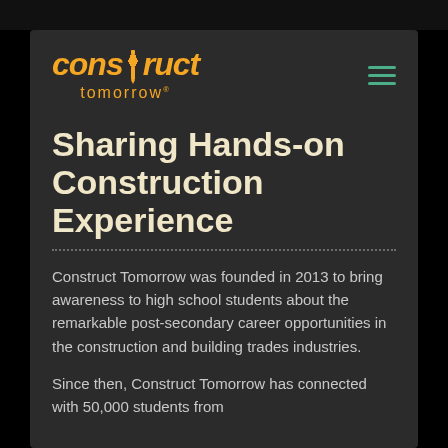[Figure (logo): Construct Tomorrow logo with orange italic text and screw icon, with teal hamburger menu icon]
Sharing Hands-on Construction Experience
Construct Tomorrow was founded in 2013 to bring awareness to high school students about the remarkable post-secondary career opportunities in the construction and building trades industries.
Since then, Construct Tomorrow has connected with 50,000 students from